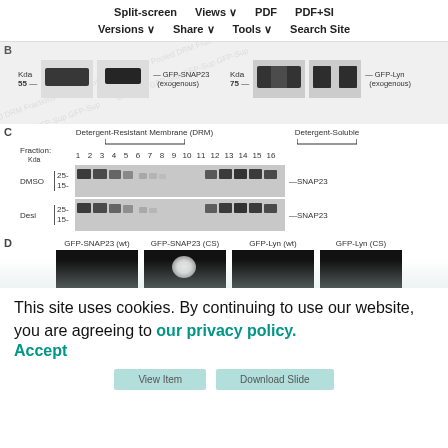Split-screen | Views | PDF | PDF+SI | Versions | Share | Tools | Search Site
[Figure (photo): Western blot panel B showing GFP-SNAP23 (exogenous) at 55 kDa in pooled DRM and pooled soluble fractions (left pair), and GFP-Lyn (exogenous) at 75 kDa in pooled DRM and pooled soluble fractions (right pair), with lane headers GFP-S and GFP-S for each pair.]
[Figure (photo): Western blot panel C showing SNAP23 protein distribution across fractions 1-16. Top row: DMSO treatment, bands at 25/15 kDa markers. Bottom row: Desi treatment, bands at 25/15 kDa markers. Fractions 1-4 labeled Detergent-Resistant Membrane (DRM), fractions 13-16 labeled Detergent-Soluble.]
[Figure (photo): Fluorescence microscopy panel D showing four black image panels labeled: GFP-SNAP23 (wt), GFP-SNAP23 (CS), GFP-Lyn (wt), GFP-Lyn (CS). The GFP-SNAP23 (CS) panel shows a bright fluorescent spot.]
This site uses cookies. By continuing to use our website, you are agreeing to our privacy policy. Accept